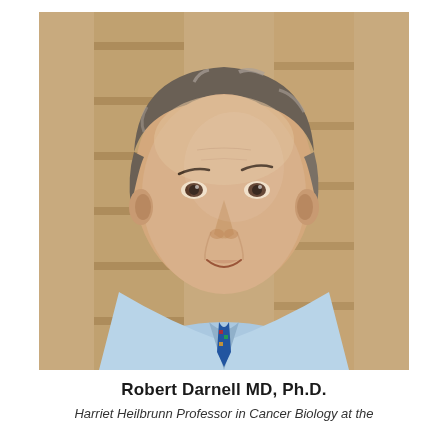[Figure (photo): Professional headshot of Robert Darnell MD, Ph.D. — a middle-aged man with salt-and-pepper hair wearing a light blue collared shirt and a colorful tie, photographed in front of wooden bookshelves in a soft-focus background.]
Robert Darnell MD, Ph.D.
Harriet Heilbrunn Professor in Cancer Biology at the